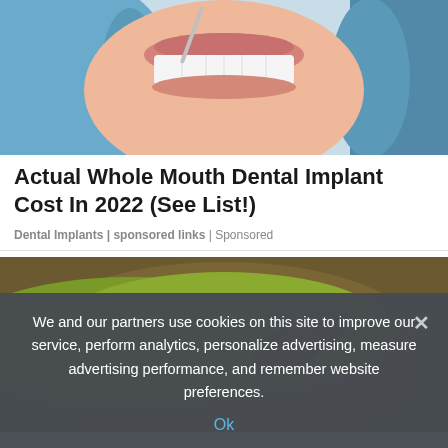[Figure (photo): Close-up photo of a dental exam — gloved hands and a patient's mouth with visible teeth]
Actual Whole Mouth Dental Implant Cost In 2022 (See List!)
Dental Implants | sponsored links | Sponsored
[Figure (photo): A wooden bowl filled with green mung beans and a wooden spoon]
We and our partners use cookies on this site to improve our service, perform analytics, personalize advertising, measure advertising performance, and remember website preferences.
Ok